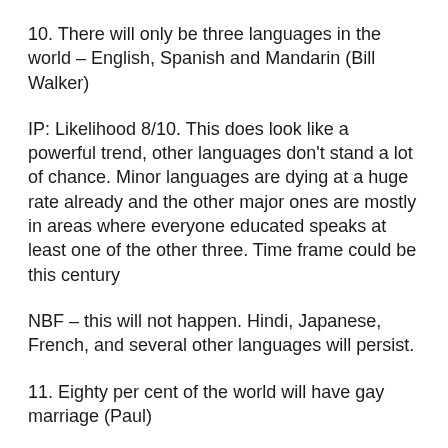10. There will only be three languages in the world – English, Spanish and Mandarin (Bill Walker)
IP: Likelihood 8/10. This does look like a powerful trend, other languages don't stand a lot of chance. Minor languages are dying at a huge rate already and the other major ones are mostly in areas where everyone educated speaks at least one of the other three. Time frame could be this century
NBF – this will not happen. Hindi, Japanese, French, and several other languages will persist.
11. Eighty per cent of the world will have gay marriage (Paul)